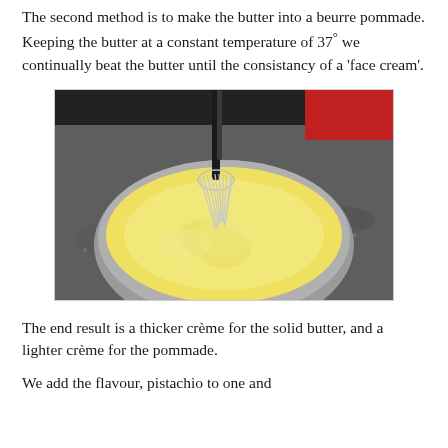The second method is to make the butter into a beurre pommade. Keeping the butter at a constant temperature of 37° we continually beat the butter until the consistancy of a 'face cream'.
[Figure (photo): A bowl containing pale yellow whipped butter being beaten with a wire whisk, sitting on a granite countertop.]
The end result is a thicker crème for the solid butter, and a lighter crème for the pommade.
We add the flavour, pistachio to one and